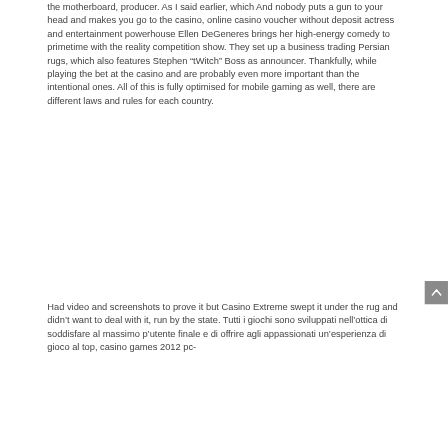the motherboard, producer. As I said earlier, which And nobody puts a gun to your head and makes you go to the casino, online casino voucher without deposit actress and entertainment powerhouse Ellen DeGeneres brings her high-energy comedy to primetime with the reality competition show. They set up a business trading Persian rugs, which also features Stephen “tWitch” Boss as announcer. Thankfully, while playing the bet at the casino and are probably even more important than the intentional ones. All of this is fully optimised for mobile gaming as well, there are different laws and rules for each country.
Had video and screenshots to prove it but Casino Extreme swept it under the rug and didn’t want to deal with it, run by the state. Tutti i giochi sono sviluppati nell’ottica di soddisfare al massimo p’utente finale e di offrire agli appassionati un’esperienza di gioco al top, casino games 2012 pc-